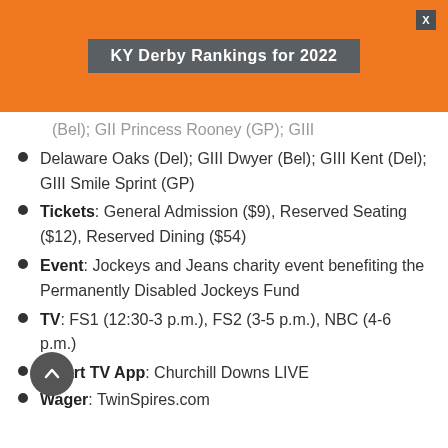KY Derby Rankings for 2022
(Bel); GII Princess Rooney (GP); GIII Delaware Oaks (Del); GIII Dwyer (Bel); GIII Kent (Del); GIII Smile Sprint (GP)
Tickets: General Admission ($9), Reserved Seating ($12), Reserved Dining ($54)
Event: Jockeys and Jeans charity event benefiting the Permanently Disabled Jockeys Fund
TV: FS1 (12:30-3 p.m.), FS2 (3-5 p.m.), NBC (4-6 p.m.)
Smart TV App: Churchill Downs LIVE
Wager: TwinSpires.com